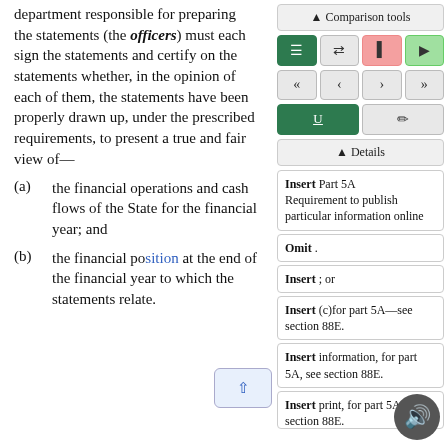department responsible for preparing the statements (the officers) must each sign the statements and certify on the statements whether, in the opinion of each of them, the statements have been properly drawn up, under the prescribed requirements, to present a true and fair view of—
(a) the financial operations and cash flows of the State for the financial year; and
(b) the financial position at the end of the financial year to which the statements relate.
[Figure (screenshot): Comparison tools panel with navigation buttons, underline/pencil tools, Details section, and annotation boxes: Insert Part 5A Requirement to publish particular information online; Omit .; Insert ; or; Insert (c)for part 5A—see section 88E.; Insert information, for part 5A, see section 88E.; Insert print, for part 5A, see section 88E.]